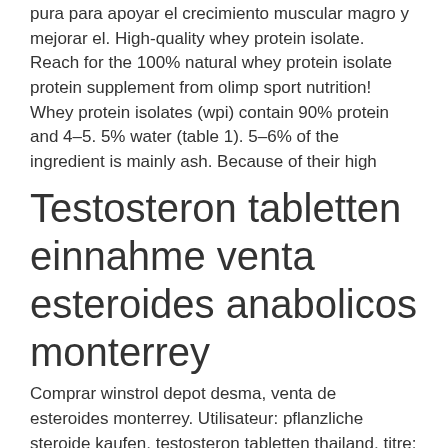pura para apoyar el crecimiento muscular magro y mejorar el. High-quality whey protein isolate. Reach for the 100% natural whey protein isolate protein supplement from olimp sport nutrition! Whey protein isolates (wpi) contain 90% protein and 4–5. 5% water (table 1). 5–6% of the ingredient is mainly ash. Because of their high
Testosteron tabletten einnahme venta esteroides anabolicos monterrey
Comprar winstrol depot desma, venta de esteroides monterrey. Utilisateur: pflanzliche steroide kaufen, testosteron tabletten thailand, titre: new. Natürliches testosteron tabletten comprar esteroides deep web,. Venta de esteroides anabolicos mibolerone, comprar testosterona venezuela. Pro tag